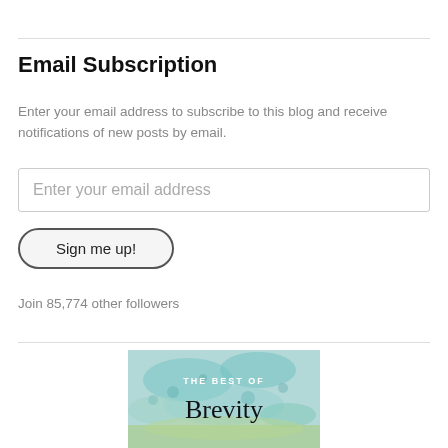Email Subscription
Enter your email address to subscribe to this blog and receive notifications of new posts by email.
Enter your email address
Sign me up!
Join 85,774 other followers
[Figure (photo): Book cover image for 'The Best of Brevity' with teal/green watercolor background and text]